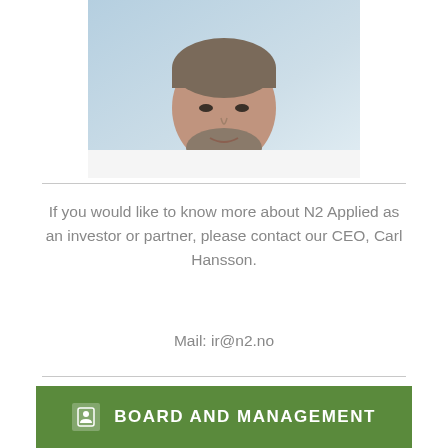[Figure (photo): Headshot photo of Carl Hansson, CEO of N2 Applied, a middle-aged man with a beard wearing a light blue collared shirt, photographed against a light blue/green background]
If you would like to know more about N2 Applied as an investor or partner, please contact our CEO, Carl Hansson.

Mail: ir@n2.no
BOARD AND MANAGEMENT